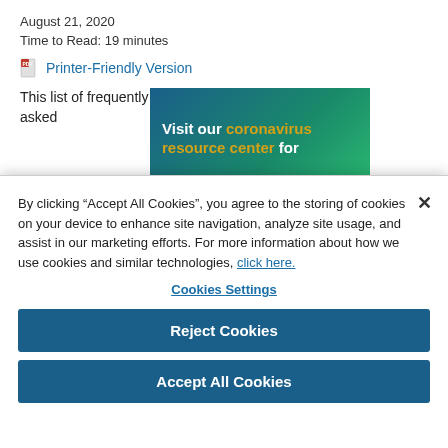August 21, 2020
Time to Read: 19 minutes
Printer-Friendly Version
This list of frequently asked
[Figure (other): Banner: Visit our coronavirus resource center for]
By clicking “Accept All Cookies”, you agree to the storing of cookies on your device to enhance site navigation, analyze site usage, and assist in our marketing efforts. For more information about how we use cookies and similar technologies, click here.
Cookies Settings
Reject Cookies
Accept All Cookies